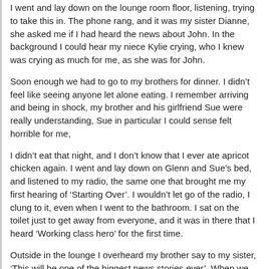I went and lay down on the lounge room floor, listening, trying to take this in. The phone rang, and it was my sister Dianne, she asked me if I had heard the news about John. In the background I could hear my niece Kylie crying, who I knew was crying as much for me, as she was for John.
Soon enough we had to go to my brothers for dinner. I didn’t feel like seeing anyone let alone eating. I remember arriving and being in shock, my brother and his girlfriend Sue were really understanding, Sue in particular I could sense felt horrible for me,
I didn’t eat that night, and I don’t know that I ever ate apricot chicken again. I went and lay down on Glenn and Sue’s bed, and listened to my radio, the same one that brought me my first hearing of ‘Starting Over’. I wouldn’t let go of the radio, I clung to it, even when I went to the bathroom. I sat on the toilet just to get away from everyone, and it was in there that I heard ‘Working class hero’ for the first time.
Outside in the lounge I overheard my brother say to my sister, ‘This will be one of the biggest news stories ever’. When we got home, I was watching Roger Climpson read the late news on channel 7. At the end they played the video of John singing ‘Imagine’. At that moment dad walked in from afternoon shift and said to me, ‘I see your mate died’.